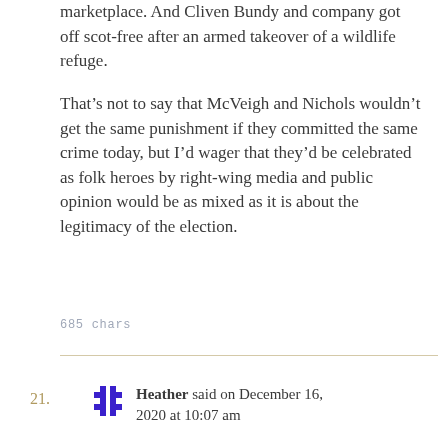marketplace. And Cliven Bundy and company got off scot-free after an armed takeover of a wildlife refuge.
That’s not to say that McVeigh and Nichols wouldn’t get the same punishment if they committed the same crime today, but I’d wager that they’d be celebrated as folk heroes by right-wing media and public opinion would be as mixed as it is about the legitimacy of the election.
685 chars
21. Heather said on December 16, 2020 at 10:07 am